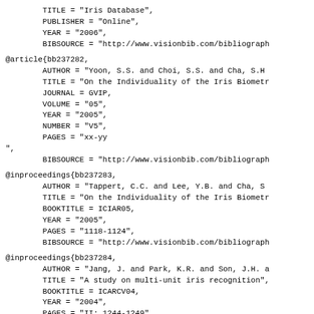TITLE = "Iris Database",
        PUBLISHER = "Online",
        YEAR = "2006",
        BIBSOURCE = "http://www.visionbib.com/bibliograph
@article{bb237282,
        AUTHOR = "Yoon, S.S. and Choi, S.S. and Cha, S.H
        TITLE = "On the Individuality of the Iris Biometr
        JOURNAL = GVIP,
        VOLUME = "05",
        YEAR = "2005",
        NUMBER = "V5",
        PAGES = "xx-yy
",
        BIBSOURCE = "http://www.visionbib.com/bibliograph
@inproceedings{bb237283,
        AUTHOR = "Tappert, C.C. and Lee, Y.B. and Cha, S
        TITLE = "On the Individuality of the Iris Biometr
        BOOKTITLE = ICIAR05,
        YEAR = "2005",
        PAGES = "1118-1124",
        BIBSOURCE = "http://www.visionbib.com/bibliograph
@inproceedings{bb237284,
        AUTHOR = "Jang, J. and Park, K.R. and Son, J.H. a
        TITLE = "A study on multi-unit iris recognition",
        BOOKTITLE = ICARCV04,
        YEAR = "2004",
        PAGES = "II: 1244-1249",